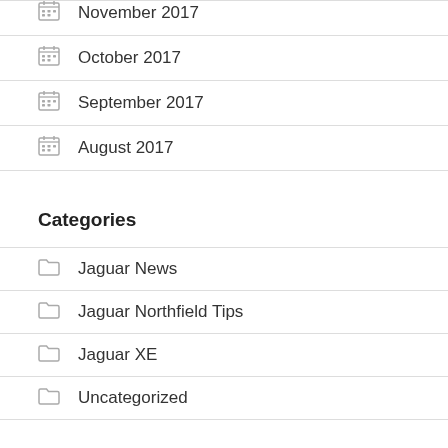November 2017
October 2017
September 2017
August 2017
Categories
Jaguar News
Jaguar Northfield Tips
Jaguar XE
Uncategorized
Meta